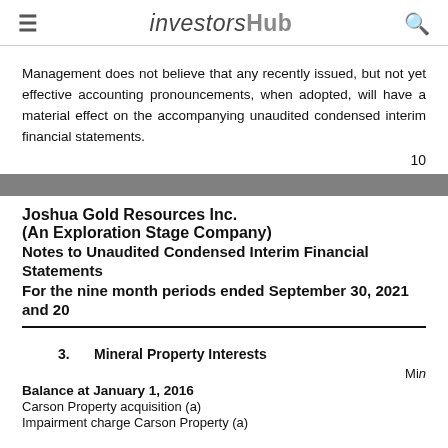investorshub
Management does not believe that any recently issued, but not yet effective accounting pronouncements, when adopted, will have a material effect on the accompanying unaudited condensed interim financial statements.
10
Joshua Gold Resources Inc.
(An Exploration Stage Company)
Notes to Unaudited Condensed Interim Financial Statements
For the nine month periods ended September 30, 2021 and 20
3.    Mineral Property Interests
Min
Balance at January 1, 2016
Carson Property acquisition (a)
Impairment charge Carson Property (a)